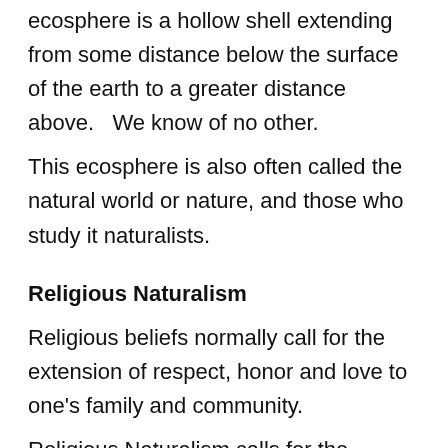ecosphere is a hollow shell extending from some distance below the surface of the earth to a greater distance above.   We know of no other.
This ecosphere is also often called the natural world or nature, and those who study it naturalists.
Religious Naturalism
Religious beliefs normally call for the extension of respect, honor and love to one's family and community.
Religious Naturalism calls for the...